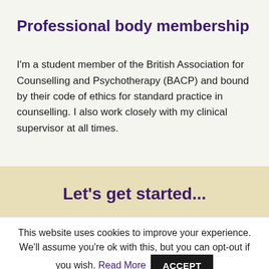Professional body membership
I'm a student member of the British Association for Counselling and Psychotherapy (BACP) and bound by their code of ethics for standard practice in counselling. I also work closely with my clinical supervisor at all times.
Let's get started...
This website uses cookies to improve your experience. We'll assume you're ok with this, but you can opt-out if you wish. Read More ACCEPT